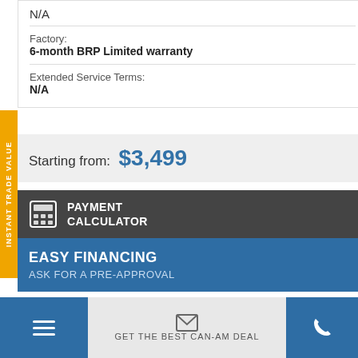N/A
Factory:
6-month BRP Limited warranty
Extended Service Terms:
N/A
Starting from: $3,499
PAYMENT CALCULATOR
EASY FINANCING
ASK FOR A PRE-APPROVAL
GET THE BEST CAN-AM DEAL
INSTANT TRADE VALUE